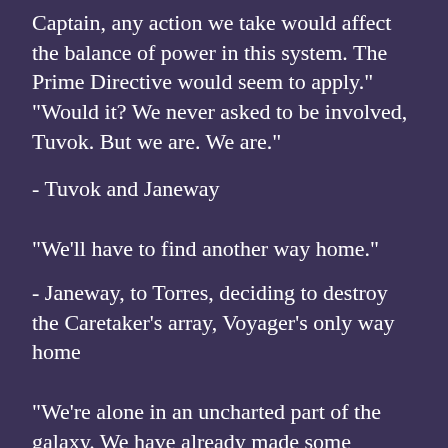Captain, any action we take would affect the balance of power in this system. The Prime Directive would seem to apply."
"Would it? We never asked to be involved, Tuvok. But we are. We are."
- Tuvok and Janeway
"We'll have to find another way home."
- Janeway, to Torres, deciding to destroy the Caretaker's array, Voyager's only way home
"We're alone in an uncharted part of the galaxy. We have already made some friends here, and some enemies. We have no idea of the dangers we're going to face, but one thing is clear. Both crews are going to have to work together